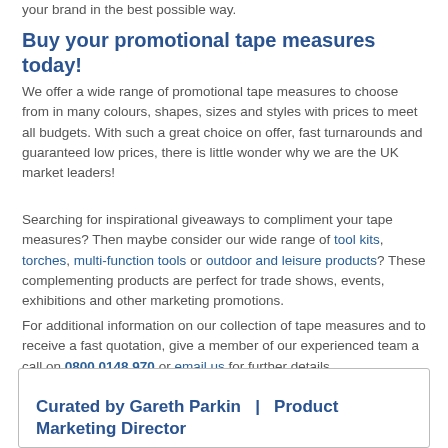your brand in the best possible way.
Buy your promotional tape measures today!
We offer a wide range of promotional tape measures to choose from in many colours, shapes, sizes and styles with prices to meet all budgets. With such a great choice on offer, fast turnarounds and guaranteed low prices, there is little wonder why we are the UK market leaders!
Searching for inspirational giveaways to compliment your tape measures? Then maybe consider our wide range of tool kits, torches, multi-function tools or outdoor and leisure products? These complementing products are perfect for trade shows, events, exhibitions and other marketing promotions.
For additional information on our collection of tape measures and to receive a fast quotation, give a member of our experienced team a call on 0800 0148 970 or email us for further details.
Curated by Gareth Parkin  |  Product Marketing Director